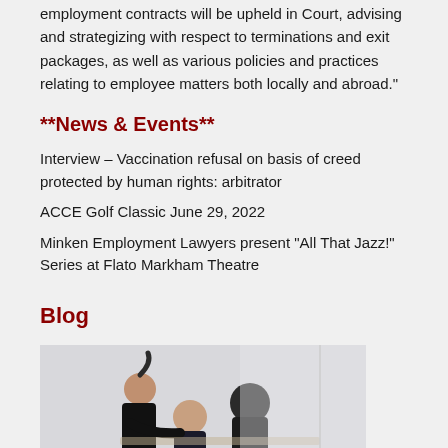employment contracts will be upheld in Court, advising and strategizing with respect to terminations and exit packages, as well as various policies and practices relating to employee matters both locally and abroad."
**News & Events**
Interview – Vaccination refusal on basis of creed protected by human rights: arbitrator
ACCE Golf Classic June 29, 2022
Minken Employment Lawyers present "All That Jazz!" Series at Flato Markham Theatre
Blog
[Figure (photo): Three people in a professional setting — one standing and leaning over, two seated at a table, appearing to discuss documents in an office or meeting room environment.]